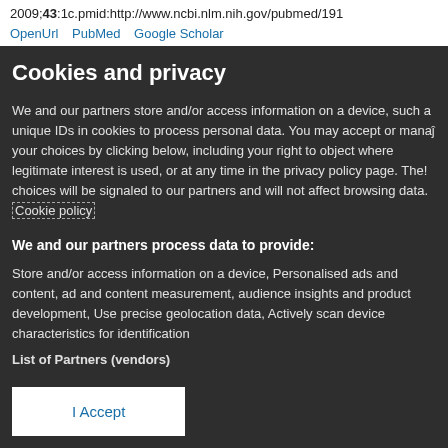2009;43:1c.pmid:http://www.ncbi.nlm.nih.gov/pubmed/191
OpenUrl   PubMed   Google Scholar
Cookies and privacy
We and our partners store and/or access information on a device, such a unique IDs in cookies to process personal data. You may accept or manage your choices by clicking below, including your right to object where legitimate interest is used, or at any time in the privacy policy page. These choices will be signaled to our partners and will not affect browsing data. Cookie policy
We and our partners process data to provide:
Store and/or access information on a device, Personalised ads and content, ad and content measurement, audience insights and product development, Use precise geolocation data, Actively scan device characteristics for identification
List of Partners (vendors)
I Accept